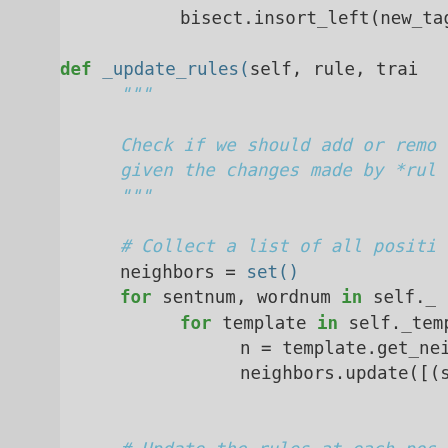[Figure (screenshot): Python source code snippet showing a _update_rules method definition with docstring, neighbor collection loop, and update rules comment. Code is displayed on a light gray background with syntax highlighting (green keywords, teal/blue comments and function names).]